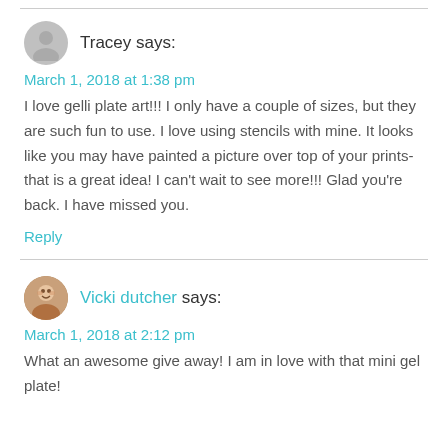Tracey says:
March 1, 2018 at 1:38 pm
I love gelli plate art!!! I only have a couple of sizes, but they are such fun to use. I love using stencils with mine. It looks like you may have painted a picture over top of your prints- that is a great idea! I can't wait to see more!!! Glad you're back. I have missed you.
Reply
Vicki dutcher says:
March 1, 2018 at 2:12 pm
What an awesome give away! I am in love with that mini gel plate!